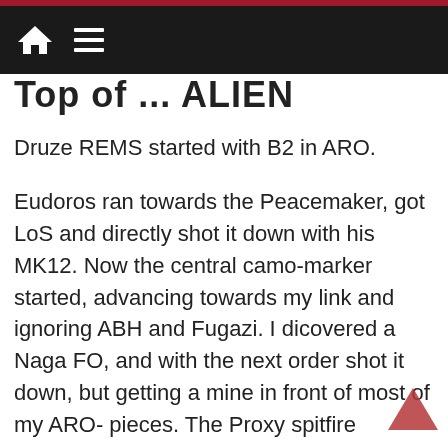Navigation bar with home and menu icons
Top of ... ALIEN
Druze REMS started with B2 in ARO.
Eudoros ran towards the Peacemaker, got LoS and directly shot it down with his MK12. Now the central camo-marker started, advancing towards my link and ignoring ABH and Fugazi. I dicovered a Naga FO, and with the next order shot it down, but getting a mine in front of most of my ARO-pieces. The Proxy spitfire advanced towards the center. While the Fugazi tried a flash pulse, the link decided to dodge, to avoid the mine. The proxy got stunned, while the MSR-Brawler got killed by the mine. With the MSV2 away, smoke popped up on both sides. On the left, the Agema advanced, shooting down the ABH, on the right